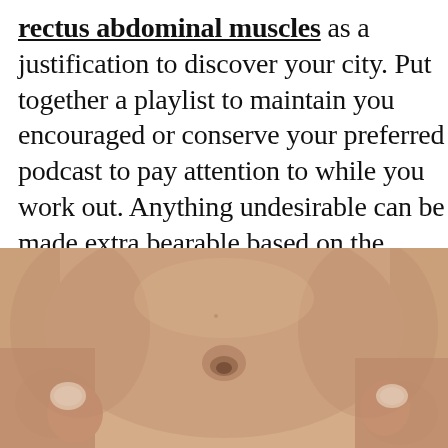rectus abdominal muscles as a justification to discover your city. Put together a playlist to maintain you encouraged or conserve your preferred podcast to pay attention to while you work out. Anything undesirable can be made extra bearable based on the setting and also individuals around you.
[Figure (photo): Close-up photo of a person's abdomen showing the belly button area, with hands visible on both left and right sides of the frame.]